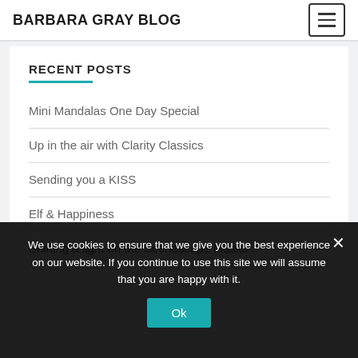BARBARA GRAY BLOG
RECENT POSTS
Mini Mandalas One Day Special
Up in the air with Clarity Classics
Sending you a KISS
Elf & Happiness
Shining a light on the Scenescape Masks ..
We use cookies to ensure that we give you the best experience on our website. If you continue to use this site we will assume that you are happy with it.